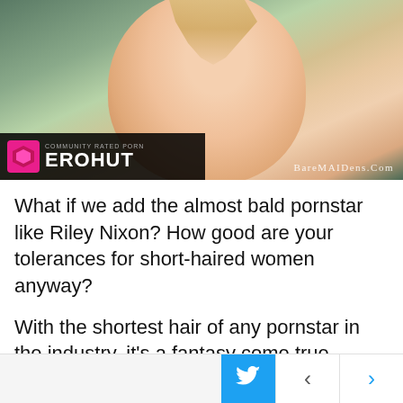[Figure (photo): Photo of a person with a necklace/chain, outdoors with blurred green foliage background. EROHUT community-rated porn logo in lower left, BareMaidens.Com watermark lower right.]
What if we add the almost bald pornstar like Riley Nixon? How good are your tolerances for short-haired women anyway?
With the shortest hair of any pornstar in the industry, it's a fantasy come true. Unless you count pretty much ball babes. Her male looks won't turn many men on, and that's okay. For those that are attracted